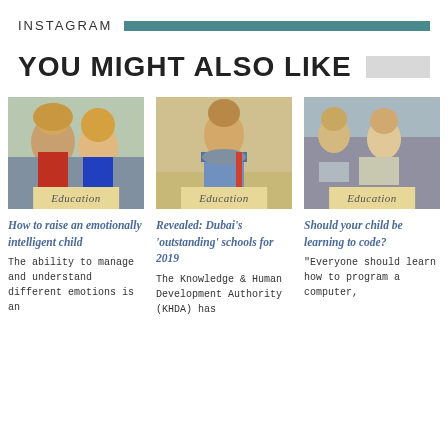INSTAGRAM
YOU MIGHT ALSO LIKE
[Figure (photo): Two young boys smiling, one with curly hair]
Education
How to raise an emotionally intelligent child
The ability to manage and understand different emotions is an
[Figure (photo): Young girl in school uniform smiling with backpack]
Education
Revealed: Dubai's 'outstanding' schools for 2019
The Knowledge & Human Development Authority (KHDA) has
[Figure (photo): Children in classroom looking at tablets/computers]
Education
Should your child be learning to code?
"Everyone should learn how to program a computer,